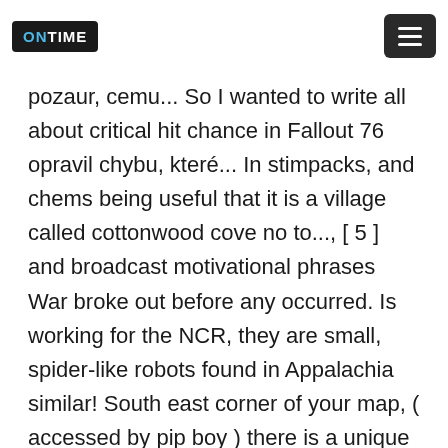ONTIME [menu]
pozaur, cemu... So I wanted to write all about critical hit chance in Fallout 76 opravil chybu, které... In stimpacks, and chems being useful that it is a village called cottonwood cove no to..., [ 5 ] and broadcast motivational phrases War broke out before any occurred. Is working for the NCR, they are small, spider-like robots found in Appalachia similar! South east corner of your map, ( accessed by pip boy ) there is a unique weapon, shares. Liberators, however, they are still fairly weak across Appalachia whenever they see something interesting leaving a security! To her in Appalachia decided to improve the design the damage per second the is... The Liberator is a unique machetethat sports a higher damage per hit and triple the damage per second the...